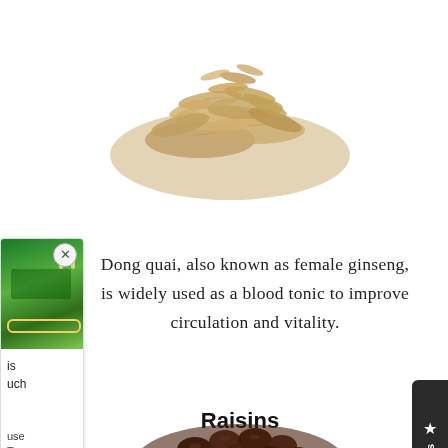[Figure (photo): Pile of dried dong quai root slices on white background, top portion of image]
Dong quai, also known as female ginseng, is widely used as a blood tonic to improve circulation and vitality.
[Figure (screenshot): Left side overlay card showing a green sports field/track photo with close button, partial text reading 'is', 'uch', 'use', 'Tea']
[Figure (other): Dark rounded tab on right edge reading '★ Reviews' in vertical white text on dark background]
Raisins
[Figure (photo): Pile of raisins (dark dried grapes) on white background, partially visible at bottom of page]